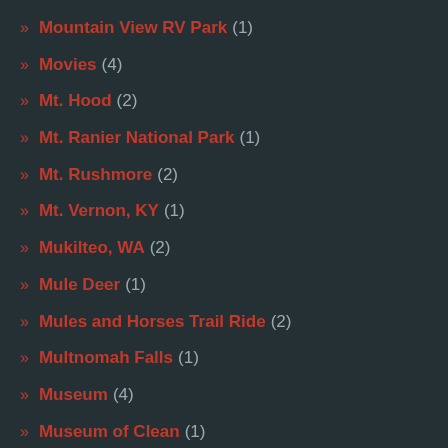Mountain View RV Park (1)
Movies (4)
Mt. Hood (2)
Mt. Ranier National Park (1)
Mt. Rushmore (2)
Mt. Vernon, KY (1)
Mukilteo, WA (2)
Mule Deer (1)
Mules and Horses Trail Ride (2)
Multnomah Falls (1)
Museum (4)
Museum of Clean (1)
Music (10)
Napa (4)